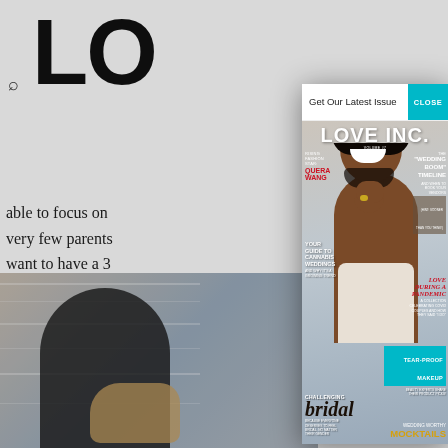[Figure (screenshot): Screenshot of a website with a modal popup overlay. The background shows the Love Inc. magazine website with partial logo text 'LO' visible, a search icon, and partial article text. A modal dialog box overlays the right portion of the screen, showing a 'Get Our Latest Issue' header with a teal CLOSE button, and displaying a Love Inc. magazine cover featuring a smiling Black man with natural hair, with various cover text including 'LOVE INC.', 'RISING FASHION STAR QUERA WANG', 'YOUR GUIDE TO CANNABIS WEDDINGS', 'THE WEDDING BOOM TIMELINE', 'LOVE DURING A PANDEMIC', 'TEAR-PROOF MAKEUP', 'WEDDING WORTHY MOCKTAILS', and 'CHALLENGING bridal'.]